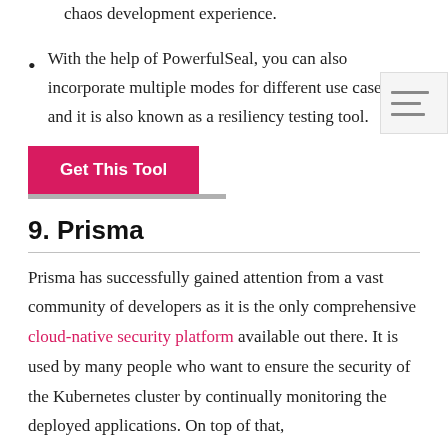Prometheus and Datadog and provides a full-fledged chaos development experience.
With the help of PowerfulSeal, you can also incorporate multiple modes for different use cases, and it is also known as a resiliency testing tool.
Get This Tool
9. Prisma
Prisma has successfully gained attention from a vast community of developers as it is the only comprehensive cloud-native security platform available out there. It is used by many people who want to ensure the security of the Kubernetes cluster by continually monitoring the deployed applications. On top of that,